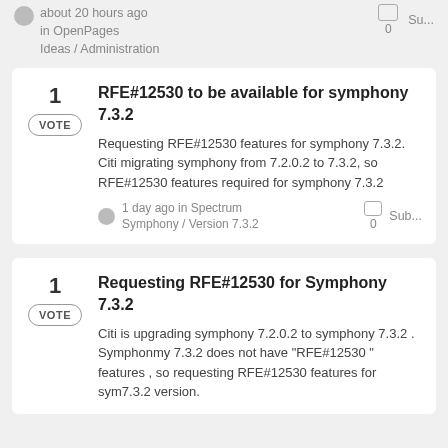about 20 hours ago
in OpenPages Ideas / Administration
0
Su...
RFE#12530 to be available for symphony 7.3.2
Requesting RFE#12530 features for symphony 7.3.2. Citi migrating symphony from 7.2.0.2 to 7.3.2, so RFE#12530 features required for symphony 7.3.2
1 day ago in Spectrum Symphony / Version 7.3.2
0
Sub...
Requesting RFE#12530 for Symphony 7.3.2
Citi is upgrading symphony 7.2.0.2 to symphony 7.3.2 . Symphonmy 7.3.2 does not have "RFE#12530 " features , so requesting RFE#12530 features for sym7.3.2 version.